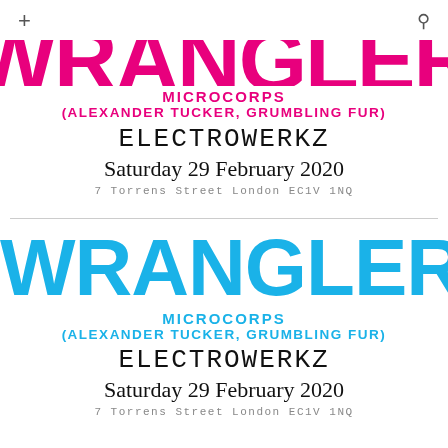[Figure (other): Cropped pink WRANGLER text (top portion cut off), serving as header for top event listing]
MICROCORPS
(ALEXANDER TUCKER, GRUMBLING FUR)
ELECTROWERKZ
Saturday 29 February 2020
7 Torrens Street London EC1V 1NQ
WRANGLER
MICROCORPS
(ALEXANDER TUCKER, GRUMBLING FUR)
ELECTROWERKZ
Saturday 29 February 2020
7 Torrens Street London EC1V 1NQ